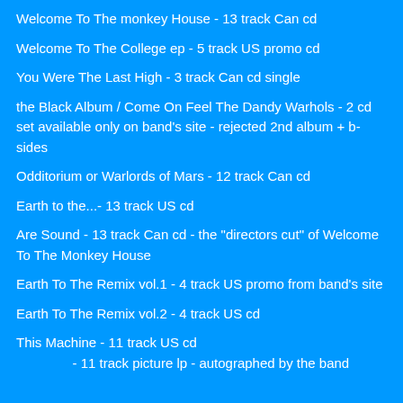Welcome To The monkey House - 13 track Can cd
Welcome To The College ep - 5 track US promo cd
You Were The Last High - 3 track Can cd single
the Black Album / Come On Feel The Dandy Warhols - 2 cd set available only on band's site - rejected 2nd album + b-sides
Odditorium or Warlords of Mars - 12 track Can cd
Earth to the...- 13 track US cd
Are Sound - 13 track Can cd - the "directors cut" of Welcome To The Monkey House
Earth To The Remix vol.1 - 4 track US promo from band's site
Earth To The Remix vol.2 - 4 track US cd
This Machine - 11 track US cd
               - 11 track picture lp - autographed by the band